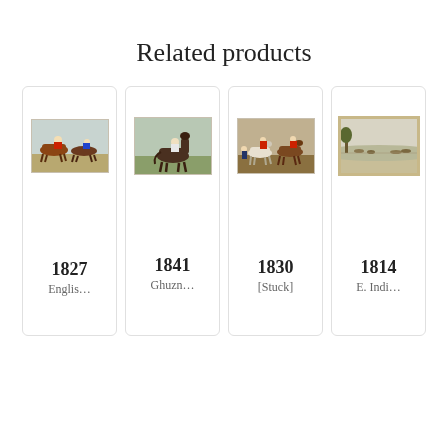Related products
[Figure (illustration): Product card 1: antique print of horse racing scene, year 1827, labeled 'Englis...']
[Figure (illustration): Product card 2: antique print of a horse with jockey standing, year 1841, labeled 'Ghuzn...']
[Figure (illustration): Product card 3: antique print of riders on horseback, year 1830, labeled '[Stuck]']
[Figure (illustration): Product card 4: antique print of landscape with horses, year 1814, labeled 'E. Indi..']